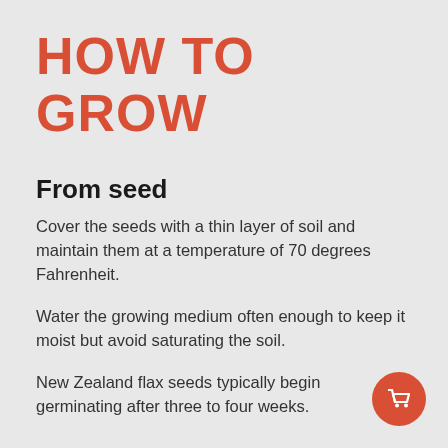HOW TO GROW
From seed
Cover the seeds with a thin layer of soil and maintain them at a temperature of 70 degrees Fahrenheit.
Water the growing medium often enough to keep it moist but avoid saturating the soil.
New Zealand flax seeds typically begin germinating after three to four weeks.
[Figure (illustration): Red circular shopping cart button icon in bottom-right corner]